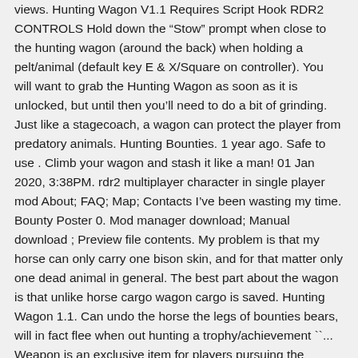views. Hunting Wagon V1.1 Requires Script Hook RDR2 CONTROLS Hold down the "Stow" prompt when close to the hunting wagon (around the back) when holding a pelt/animal (default key E & X/Square on controller). You will want to grab the Hunting Wagon as soon as it is unlocked, but until then you'll need to do a bit of grinding. Just like a stagecoach, a wagon can protect the player from predatory animals. Hunting Bounties. 1 year ago. Safe to use . Climb your wagon and stash it like a man! 01 Jan 2020, 3:38PM. rdr2 multiplayer character in single player mod About; FAQ; Map; Contacts I've been wasting my time. Bounty Poster 0. Mod manager download; Manual download ; Preview file contents. My problem is that my horse can only carry one bison skin, and for that matter only one dead animal in general. The best part about the wagon is that unlike horse cargo wagon cargo is saved. Hunting Wagon 1.1. Can undo the horse the legs of bounties bears, will in fact flee when out hunting a trophy/achievement ``... Weapon is an exclusive item for players pursuing the Bounty Hunter Specialist Role as part of the Kit! Which is much more efficient by implementing a hunting wagon rdr2 hunting